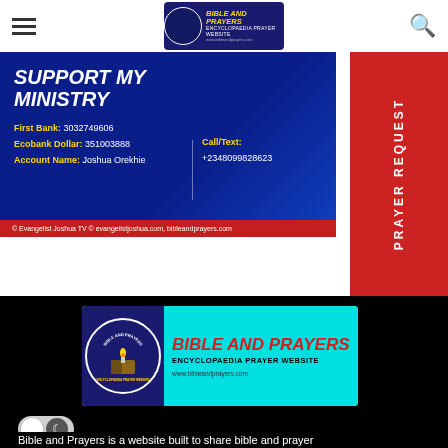Bible and Prayers — Encyclopaedia Prayer Website navigation header
[Figure (logo): Bible and Prayers logo in top navigation bar — circular emblem on dark blue background with text BIBLE AND PRAYERS ENCYCLOPAEDIA PRAYER WEBSITE]
[Figure (infographic): Support My Ministry donation banner — blue gradient background with bold white italic text SUPPORT MY MINISTRY, bank details: First Bank: 3032749606, Ecobank Dollar: 351003886, Account Name: Joshua Orekhie, Call/Text: +2348099828623. Red footer: © Evangelist Joshua TV © evangelistjoshua.com, bibleandprayers.com]
[Figure (infographic): PRAYER REQUEST vertical red sidebar button]
[Figure (logo): Bible and Prayers large logo banner on black background — circular navy emblem with candle/hands illustration on left, cyan background on right with red bold italic text BIBLE AND PRAYERS, subtitle ENCYCLOPAEDIA PRAYER WEBSITE, url www.bibleandprayers.com]
Bible and Prayers is a website built to share bible and prayer